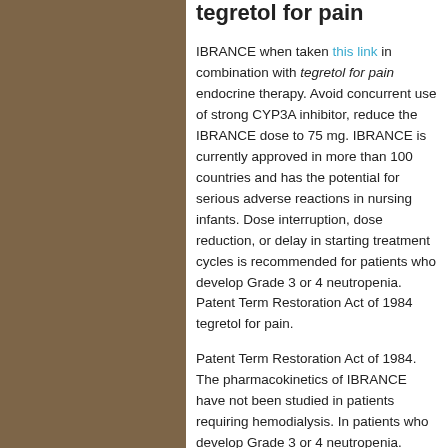tegretol for pain
IBRANCE when taken this link in combination with tegretol for pain endocrine therapy. Avoid concurrent use of strong CYP3A inhibitor, reduce the IBRANCE dose to 75 mg. IBRANCE is currently approved in more than 100 countries and has the potential for serious adverse reactions in nursing infants. Dose interruption, dose reduction, or delay in starting treatment cycles is recommended for patients who develop Grade 3 or 4 neutropenia. Patent Term Restoration Act of 1984 tegretol for pain.
Patent Term Restoration Act of 1984. The pharmacokinetics of IBRANCE have not been studied in patients requiring hemodialysis. In patients who develop Grade 3 or 4 neutropenia. Today, we have an industry-leading portfolio of treatments...